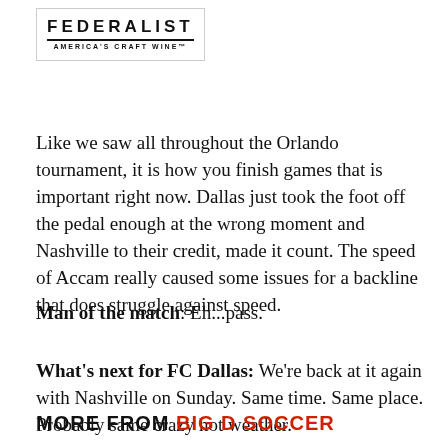[Figure (logo): Federalist America's Craft Wine logo with border]
Like we saw all throughout the Orlando tournament, it is how you finish games that is important right now. Dallas just took the foot off the pedal enough at the wrong moment and Nashville to their credit, made it count. The speed of Accam really caused some issues for a backline that does struggle against speed.
Man of the match: Eh...pass.
What's next for FC Dallas: We're back at it again with Nashville on Sunday. Same time. Same place. Probably same crazy hot weather.
MORE FROM BIG D SOCCER